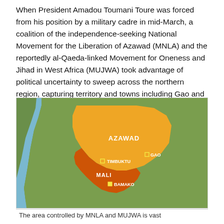When President Amadou Toumani Toure was forced from his position by a military cadre in mid-March, a coalition of the independence-seeking National Movement for the Liberation of Azawad (MNLA) and the reportedly al-Qaeda-linked Movement for Oneness and Jihad in West Africa (MUJWA) took advantage of political uncertainty to sweep across the northern region, capturing territory and towns including Gao and Timbuktu.
[Figure (map): Map of West Africa showing Mali and the Azawad region highlighted in orange. Labels: AZAWAD (large orange region in north), MALI (smaller dark orange/red region in south), TIMBUKTU (marked with small square icon), GAO (marked with small square icon), BAMAKO (marked with small square icon). Background shows green terrain of surrounding West African countries.]
The area controlled by MNLA and MUJWA is vast